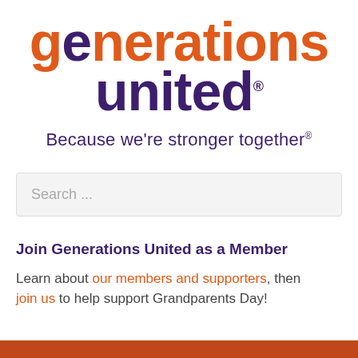[Figure (logo): Generations United logo: 'generations' in orange bold text, 'united' in dark purple bold text with registered trademark symbol]
Because we're stronger together®
Search ...
Join Generations United as a Member
Learn about our members and supporters, then join us to help support Grandparents Day!